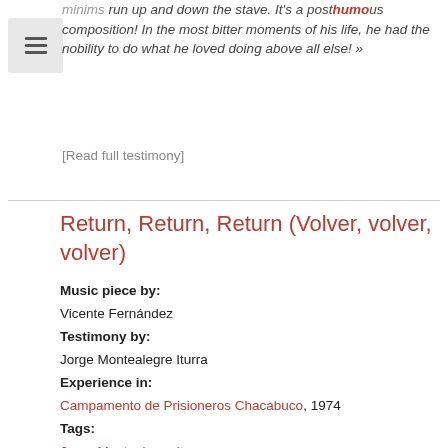minims run up and down the stave. It's a posthumous composition! In the most bitter moments of his life, he had the nobility to do what he loved doing above all else! »
[Read full testimony]
Return, Return, Return (Volver, volver, volver)
Music piece by: Vicente Fernández Testimony by: Jorge Montealegre Iturra Experience in: Campamento de Prisioneros Chacabuco, 1974 Tags: Jorge Montealegre Iturra Campamento de Prisioneros Chacabuco Antofagasta Return, Return, Return Volver, volver, volver Vicente Fernández